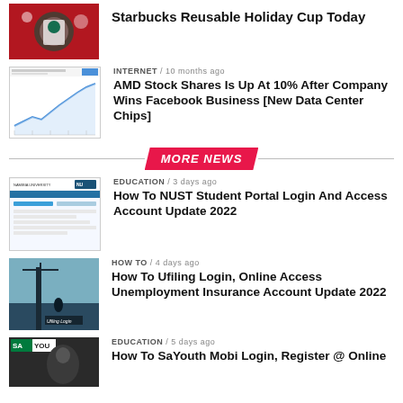[Figure (photo): Starbucks holiday cup thumbnail]
Starbucks Reusable Holiday Cup Today
INTERNET / 10 months ago
[Figure (screenshot): AMD stock chart screenshot thumbnail]
AMD Stock Shares Is Up At 10% After Company Wins Facebook Business [New Data Center Chips]
MORE NEWS
EDUCATION / 3 days ago
[Figure (screenshot): NUST student portal screenshot thumbnail]
How To NUST Student Portal Login And Access Account Update 2022
HOW TO / 4 days ago
[Figure (photo): Ufiling login page thumbnail]
How To Ufiling Login, Online Access Unemployment Insurance Account Update 2022
EDUCATION / 5 days ago
[Figure (photo): SaYouth thumbnail]
How To SaYouth Mobi Login, Register @ Online